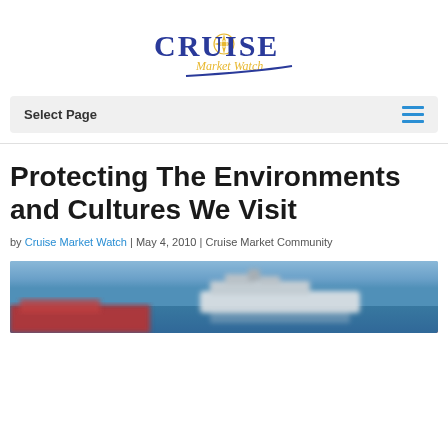[Figure (logo): Cruise Market Watch logo with compass rose and blue swoosh]
Select Page
Protecting The Environments and Cultures We Visit
by Cruise Market Watch | May 4, 2010 | Cruise Market Community
[Figure (photo): Blurry photo of a cruise ship on the water with red boat/structure in foreground]